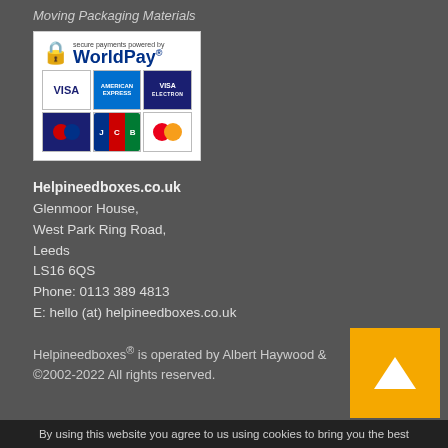Moving Packaging Materials
[Figure (logo): WorldPay secure payments logo with credit card icons: Visa, American Express, Visa Electron, Maestro, JCB, MasterCard]
Helpineedboxes.co.uk
Glenmoor House,
West Park Ring Road,
Leeds
LS16 6QS
Phone: 0113 389 4813
E: hello (at) helpineedboxes.co.uk
Helpineedboxes® is operated by Albert Haywood & ©2002-2022 All rights reserved.
By using this website you agree to us using cookies to bring you the best